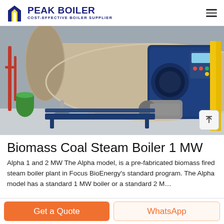PEAK BOILER — COST-EFFECTIVE BOILER SUPPLIER
[Figure (photo): Industrial biomass coal steam boiler — large horizontal cylindrical vessel in tan/beige color with blue front burner assembly, motor, and control panel; mounted on steel frame inside industrial facility with red and yellow pipes visible in background]
Biomass Coal Steam Boiler 1 MW
Alpha 1 and 2 MW The Alpha model, is a pre-fabricated biomass fired steam boiler plant in Focus BioEnergy's standard program. The Alpha model has a standard 1 MW boiler or a standard 2 M…
Get a Quote
WhatsApp